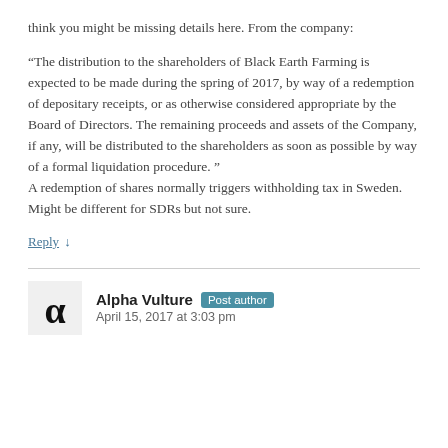think you might be missing details here. From the company:
“The distribution to the shareholders of Black Earth Farming is expected to be made during the spring of 2017, by way of a redemption of depositary receipts, or as otherwise considered appropriate by the Board of Directors. The remaining proceeds and assets of the Company, if any, will be distributed to the shareholders as soon as possible by way of a formal liquidation procedure. ” A redemption of shares normally triggers withholding tax in Sweden. Might be different for SDRs but not sure.
Reply ↓
Alpha Vulture  Post author
April 15, 2017 at 3:03 pm